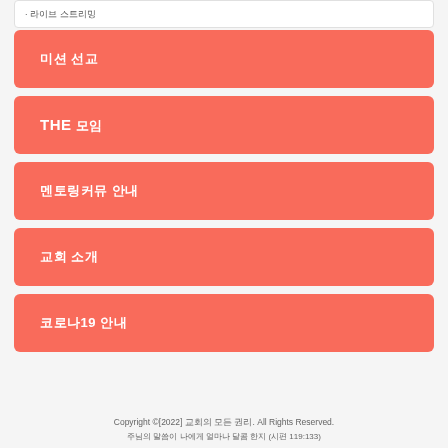미션 선교
THE 모임
멘토링커뮤 안내
교회 소개
코로나19 안내
Copyright ©[2022] 교회의 모든 권리. All Rights Reserved.
주님의 말씀이 나에게 얼마나 달콤 한지 (시편 119:133)